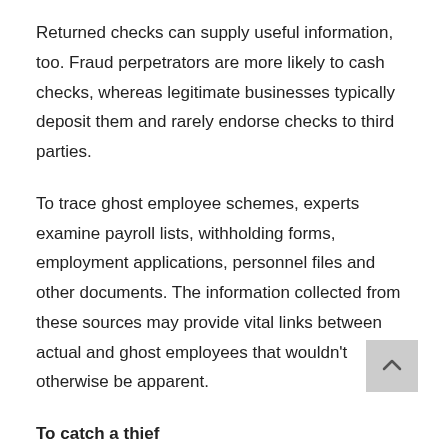Returned checks can supply useful information, too. Fraud perpetrators are more likely to cash checks, whereas legitimate businesses typically deposit them and rarely endorse checks to third parties.
To trace ghost employee schemes, experts examine payroll lists, withholding forms, employment applications, personnel files and other documents. The information collected from these sources may provide vital links between actual and ghost employees that wouldn’t otherwise be apparent.
To catch a thief
Strong internal controls are instrumental in preventing